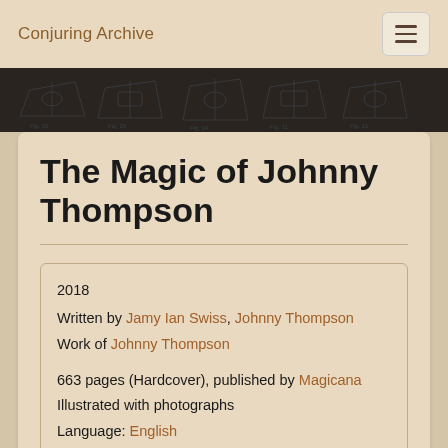Conjuring Archive
[Figure (illustration): Dark banner with faint technical/magic apparatus diagrams in blueprint style]
The Magic of Johnny Thompson
2018
Written by Jamy Ian Swiss, Johnny Thompson
Work of Johnny Thompson

663 pages (Hardcover), published by Magicana
Illustrated with photographs
Language: English